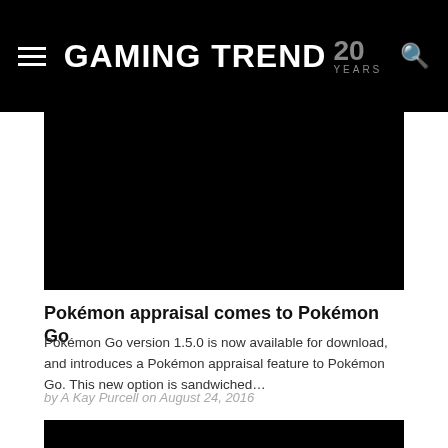Gaming Trend 20 Years
[Figure (photo): Dark/black image placeholder for article about Pokémon appraisal in Pokémon Go]
Pokémon appraisal comes to Pokémon Go
Pokémon Go version 1.5.0 is now available for download, and introduces a Pokémon appraisal feature to Pokémon Go. This new option is sandwiched…
by A Kay Purcell on August 24, 2016
[Figure (photo): Dark/black image placeholder for second article]